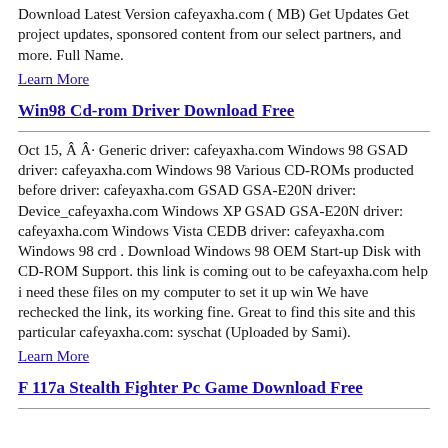Download Latest Version cafeyaxha.com ( MB) Get Updates Get project updates, sponsored content from our select partners, and more. Full Name.
Learn More
Win98 Cd-rom Driver Download Free
Oct 15, Â Â· Generic driver: cafeyaxha.com Windows 98 GSAD driver: cafeyaxha.com Windows 98 Various CD-ROMs producted before driver: cafeyaxha.com GSAD GSA-E20N driver: Device_cafeyaxha.com Windows XP GSAD GSA-E20N driver: cafeyaxha.com Windows Vista CEDB driver: cafeyaxha.com Windows 98 crd . Download Windows 98 OEM Start-up Disk with CD-ROM Support. this link is coming out to be cafeyaxha.com help i need these files on my computer to set it up win We have rechecked the link, its working fine. Great to find this site and this particular cafeyaxha.com: syschat (Uploaded by Sami).
Learn More
F 117a Stealth Fighter Pc Game Download Free